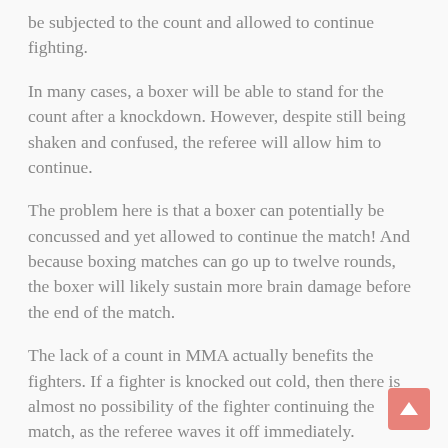be subjected to the count and allowed to continue fighting.
In many cases, a boxer will be able to stand for the count after a knockdown. However, despite still being shaken and confused, the referee will allow him to continue.
The problem here is that a boxer can potentially be concussed and yet allowed to continue the match! And because boxing matches can go up to twelve rounds, the boxer will likely sustain more brain damage before the end of the match.
The lack of a count in MMA actually benefits the fighters. If a fighter is knocked out cold, then there is almost no possibility of the fighter continuing the match, as the referee waves it off immediately.
Similarly, if a fighter is knocked down and is taking shots without defending themselves, the referee will again wave